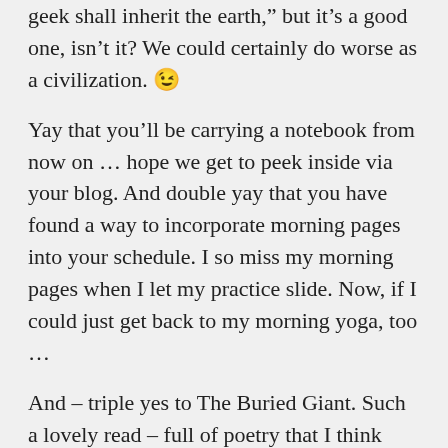geek shall inherit the earth," but it's a good one, isn't it? We could certainly do worse as a civilization. 😉
Yay that you'll be carrying a notebook from now on … hope we get to peek inside via your blog. And double yay that you have found a way to incorporate morning pages into your schedule. I so miss my morning pages when I let my practice slide. Now, if I could just get back to my morning yoga, too …
And – triple yes to The Buried Giant. Such a lovely read – full of poetry that I think you'll especially like. Love to know what you think when you get around to reading it. I also …